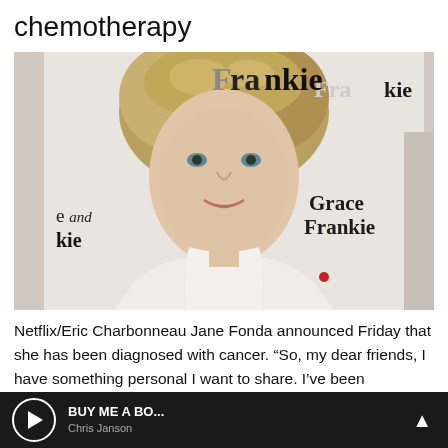chemotherapy
[Figure (photo): Jane Fonda at a Grace and Frankie event, standing in front of a white step-and-repeat backdrop with 'Grace Frankie' branding. She has short layered blonde hair and is wearing a white outfit.]
Netflix/Eric Charbonneau Jane Fonda announced Friday that she has been diagnosed with cancer. “So, my dear friends, I have something personal I want to share. I’ve been diagnosed with non-Hodgkin’s lymphoma and have started chemo treatments.”
BUY ME A BO... Chris Janson